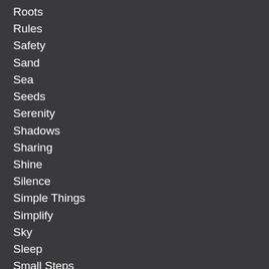Roots
Rules
Safety
Sand
Sea
Seeds
Serenity
Shadows
Sharing
Shine
Silence
Simple Things
Simplify
Sky
Sleep
Small Steps
Small Things
Smiles
Snow
Snowmen